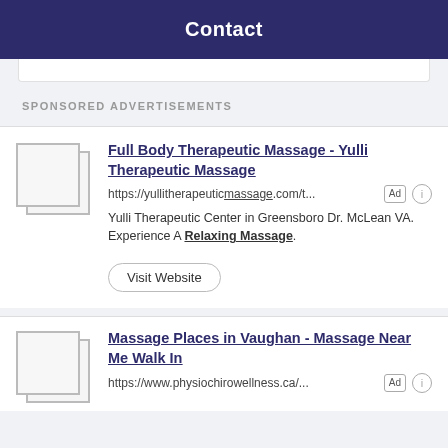Contact
SPONSORED ADVERTISEMENTS
Full Body Therapeutic Massage - Yulli Therapeutic Massage
https://yullitherapeuticmassage.com/t...
Yulli Therapeutic Center in Greensboro Dr. McLean VA. Experience A Relaxing Massage.
Visit Website
Massage Places in Vaughan - Massage Near Me Walk In
https://www.physiochirowellness.ca/...